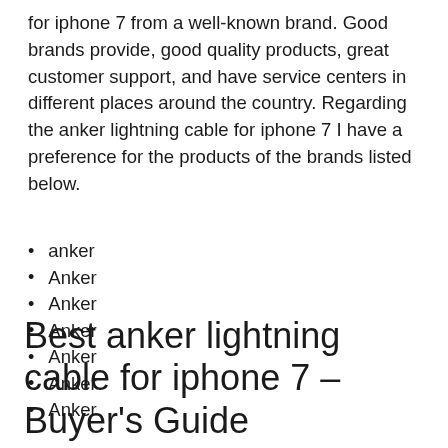for iphone 7 from a well-known brand. Good brands provide, good quality products, great customer support, and have service centers in different places around the country. Regarding the anker lightning cable for iphone 7 I have a preference for the products of the brands listed below.
anker
Anker
Anker
Anker
Anker
Anker
Anker
Best anker lightning cable for iphone 7 – Buyer's Guide